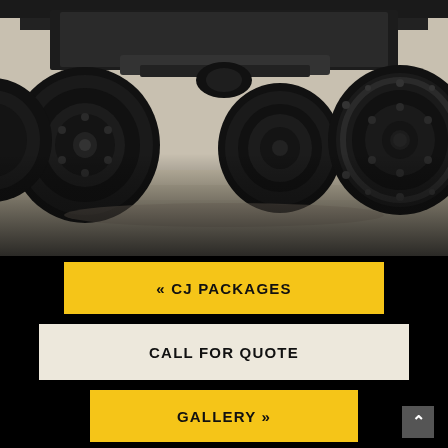[Figure (photo): Close-up photo of the underside and large off-road tires of a lifted truck or 4x4 vehicle, shot from a low angle on a dirt/gravel surface. Black wheels with aggressive mud-terrain tires visible. The bottom portion of the image has a blurred/faded transition.]
« CJ PACKAGES
CALL FOR QUOTE
GALLERY »